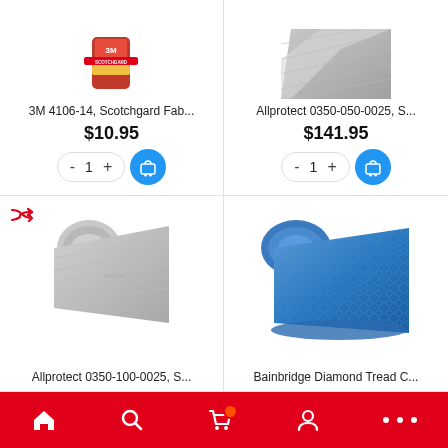[Figure (photo): Product image of 3M Scotchgard fabric protector can with a sofa graphic, partially visible at top]
3M 4106-14, Scotchgard Fab...
$10.95
[Figure (photo): Product image of Allprotect grey fabric roll, partially visible at top]
Allprotect 0350-050-0025, S...
$141.95
[Figure (photo): Product image of Allprotect 0350-100-0025 grey fabric protective roll unfurled]
Allprotect 0350-100-0025, S...
[Figure (photo): Product image of Bainbridge Diamond Tread blue textured roll of material]
Bainbridge Diamond Tread C...